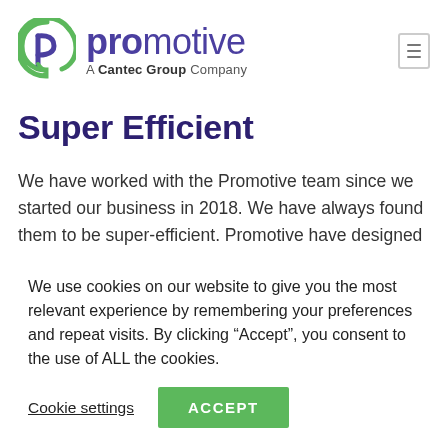[Figure (logo): Promotive logo: green stylized P icon on left, purple 'promotive' wordmark with green 'pro' prefix, tagline 'A Cantec Group Company' below]
Super Efficient
We have worked with the Promotive team since we started our business in 2018. We have always found them to be super-efficient. Promotive have designed our office stationery, pitch side hoardings and pull-up banners. Throughout the process, their attention to detail was very much appreciated. We would have no hesitation in
We use cookies on our website to give you the most relevant experience by remembering your preferences and repeat visits. By clicking “Accept”, you consent to the use of ALL the cookies.
Cookie settings  ACCEPT